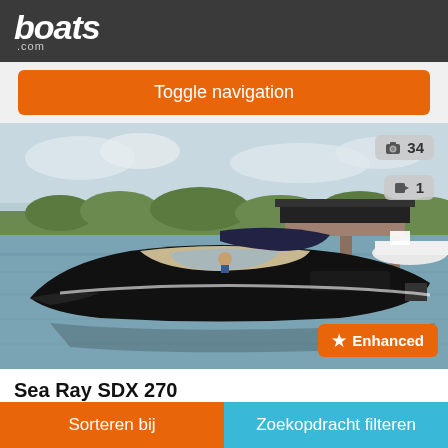boats.com
Toggle navigation
[Figure (photo): A black Sea Ray SDX 270 motorboat docked at a marina with other boats in the background, calm water, green trees on the horizon, overcast sky. Photo count badge showing camera icon and 34. Video badge showing 1. Enhanced badge in bottom right corner.]
Sea Ray SDX 270
Ship Bottom, New Jersey, Verenigde Staten
Sorteren bij   Zoekopdracht filteren